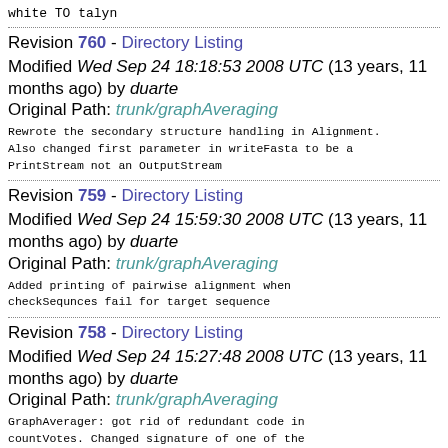white TO talyn
Revision 760 - Directory Listing
Modified Wed Sep 24 18:18:53 2008 UTC (13 years, 11 months ago) by duarte
Original Path: trunk/graphAveraging
Rewrote the secondary structure handling in Alignment.
Also changed first parameter in writeFasta to be a
PrintStream not an OutputStream
Revision 759 - Directory Listing
Modified Wed Sep 24 15:59:30 2008 UTC (13 years, 11 months ago) by duarte
Original Path: trunk/graphAveraging
Added printing of pairwise alignment when
checkSequnces fail for target sequence
Revision 758 - Directory Listing
Modified Wed Sep 24 15:27:48 2008 UTC (13 years, 11 months ago) by duarte
Original Path: trunk/graphAveraging
GraphAverager: got rid of redundant code in
countVotes. Changed signature of one of the
constructors: now requires target sequence.
averageGraph: adapted accordingly